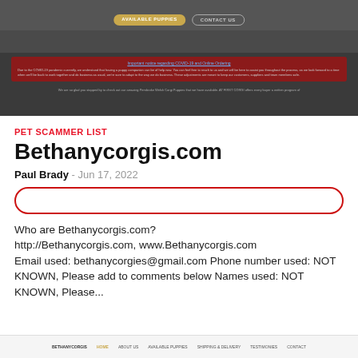[Figure (screenshot): Screenshot of Bethanycorgis.com website with dark background showing navigation buttons and a red COVID-19 notice banner]
PET SCAMMER LIST
Bethanycorgis.com
Paul Brady - Jun 17, 2022
Who are Bethanycorgis.com? http://Bethanycorgis.com, www.Bethanycorgis.com Email used: bethanycorgies@gmail.com Phone number used: NOT KNOWN, Please add to comments below Names used: NOT KNOWN, Please...
[Figure (screenshot): Bottom strip of a website footer with navigation links: Home, About Us, Available Puppies, Shipping & Delivery, Testimonies, Contact]